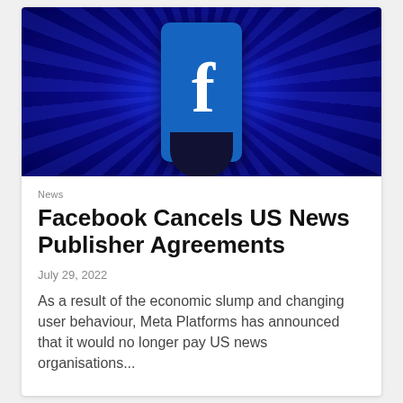[Figure (photo): A hand holding a smartphone displaying the Facebook 'f' logo against a blue radial light burst background.]
News
Facebook Cancels US News Publisher Agreements
July 29, 2022
As a result of the economic slump and changing user behaviour, Meta Platforms has announced that it would no longer pay US news organisations...